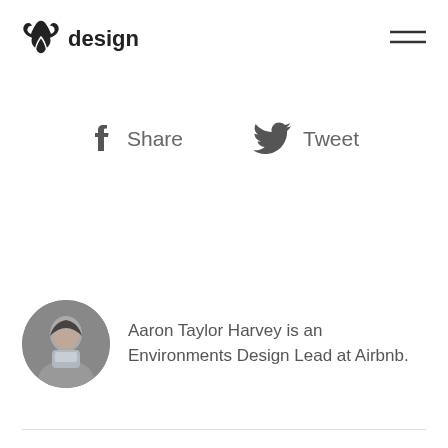design
[Figure (infographic): Facebook Share button with f icon and Twitter Tweet button with bird icon]
[Figure (photo): Circular profile photo of Aaron Taylor Harvey]
Aaron Taylor Harvey is an Environments Design Lead at Airbnb.